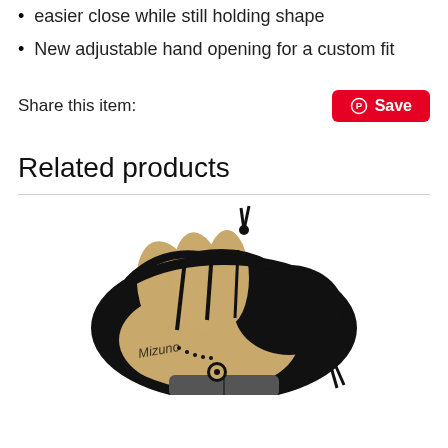easier close while still holding shape
New adjustable hand opening for a custom fit
Share this item:
[Figure (screenshot): Pinterest Save button in red with Pinterest logo icon]
Related products
[Figure (photo): Mizuno baseball catcher's mitt glove, tan/black leather, viewed from above]